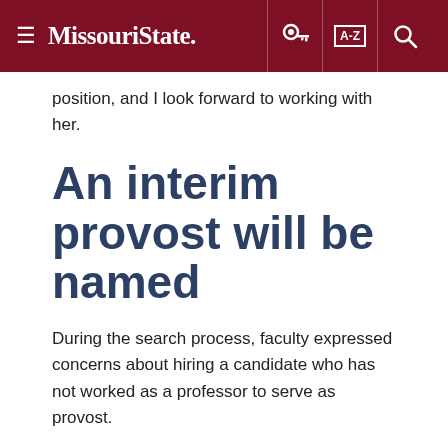Missouri State [navigation bar with hamburger menu, key icon, A-Z index, and search icon]
position, and I look forward to working with her.
An interim provost will be named
During the search process, faculty expressed concerns about hiring a candidate who has not worked as a professor to serve as provost.
I am confident that Zora would be an effective EVP/Provost, regardless of the fact that her credentials and professional experiences differ from that of many of our faculty members.
I was ready to hire her for the position. It would have been within the purview of my role as president to do so